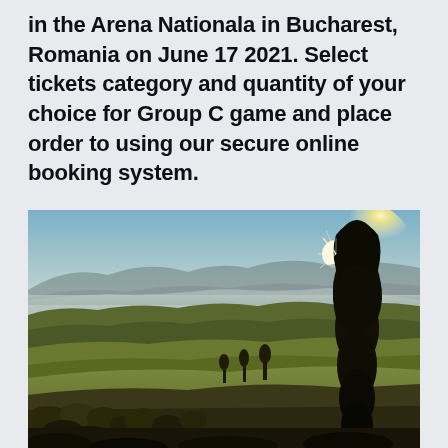in the Arena Nationala in Bucharest, Romania on June 17 2021. Select tickets category and quantity of your choice for Group C game and place order to using our secure online booking system.
[Figure (photo): Landscape photograph showing a panoramic view of rolling hills and countryside at sunset or sunrise, with trees in the foreground (a tall cypress-like tree on the right), misty mountains in the background, and sunlight breaking through the trees on the right side creating a starburst effect. The scene has warm golden and olive tones suggesting Tuscany or similar Mediterranean landscape.]